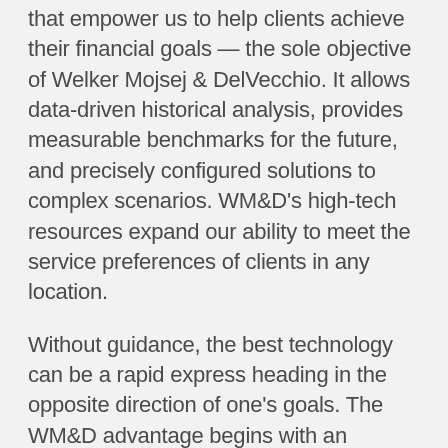that empower us to help clients achieve their financial goals — the sole objective of Welker Mojsej & DelVecchio. It allows data-driven historical analysis, provides measurable benchmarks for the future, and precisely configured solutions to complex scenarios. WM&D's high-tech resources expand our ability to meet the service preferences of clients in any location.
Without guidance, the best technology can be a rapid express heading in the opposite direction of one's goals. The WM&D advantage begins with an intimate understanding of our clients' needs & wants, bolstered by an unwavering commitment to your financial well-being, and elevated by our ability to harness years of experience grounded